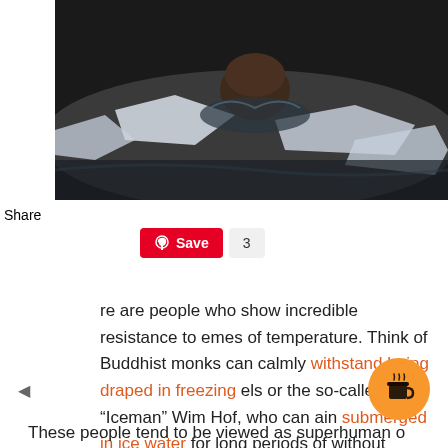[Figure (photo): Person swimming in icy water, head above surface surrounded by broken ice and dark water]
[Figure (screenshot): Social media share sidebar with Facebook, Twitter, Pinterest, Tumblr, Reddit, WhatsApp, Messenger icons, and a Pinterest Save button showing count of 3]
re are people who show incredible resistance to emes of temperature. Think of Buddhist monks can calmly withstand being draped in freezing els or the so-called “Iceman” Wim Hof, who can ain submerged in ice water for long periods of without trouble.
These people tend to be viewed as superhuman o...